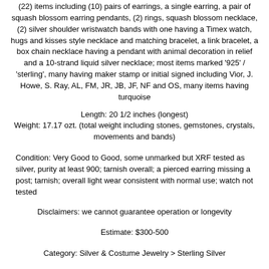(22) items including (10) pairs of earrings, a single earring, a pair of squash blossom earring pendants, (2) rings, squash blossom necklace, (2) silver shoulder wristwatch bands with one having a Timex watch, hugs and kisses style necklace and matching bracelet, a link bracelet, a box chain necklace having a pendant with animal decoration in relief and a 10-strand liquid silver necklace; most items marked '925' / 'sterling', many having maker stamp or initial signed including Vior, J. Howe, S. Ray, AL, FM, JR, JB, JF, NF and OS, many items having turquoise
Length: 20 1/2 inches (longest)
Weight: 17.17 ozt. (total weight including stones, gemstones, crystals, movements and bands)
Condition: Very Good to Good, some unmarked but XRF tested as silver, purity at least 900; tarnish overall; a pierced earring missing a post; tarnish; overall light wear consistent with normal use; watch not tested
Disclaimers: we cannot guarantee operation or longevity
Estimate: $300-500
Category: Silver & Costume Jewelry > Sterling Silver
Estimated Sale Time: 3:08 pm CST